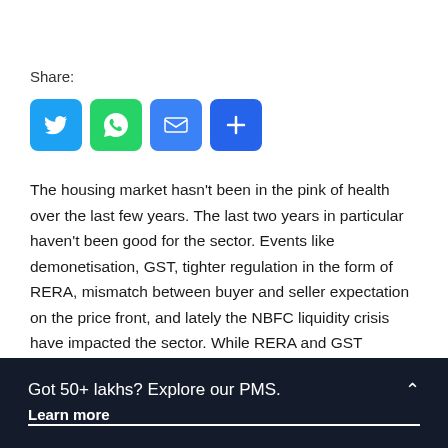Share:
[Figure (infographic): Four social share icon buttons: Twitter (blue bird), WhatsApp (green phone/chat), Email (blue envelope), and a blue plus button]
The housing market hasn't been in the pink of health over the last few years. The last two years in particular haven't been good for the sector. Events like demonetisation, GST, tighter regulation in the form of RERA, mismatch between buyer and seller expectation on the price front, and lately the NBFC liquidity crisis have impacted the sector. While RERA and GST reforms will help in the long run, the short term demand has been effected.
Got 50+ lakhs? Explore our PMS. Learn more